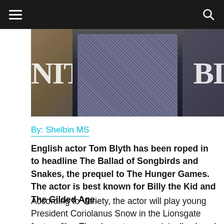≡  [search icon]
[Figure (photo): Photo of English actor Tom Blyth wearing a houndstooth patterned jacket at what appears to be a Vanity Fair event; a brown backdrop with partial white letters visible in the background]
By: Shelbin MS
English actor Tom Blyth has been roped in to headline The Ballad of Songbirds and Snakes, the prequel to The Hunger Games. The actor is best known for Billy the Kid and The Gilded Age.
According to Variety, the actor will play young President Coriolanus Snow in the Lionsgate feature film. The character was originally played by Hollywood veteran Donald Sutherland in the four-part movie